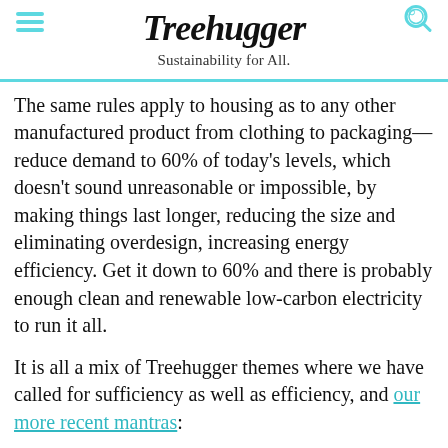Treehugger — Sustainability for All.
The same rules apply to housing as to any other manufactured product from clothing to packaging—reduce demand to 60% of today's levels, which doesn't sound unreasonable or impossible, by making things last longer, reducing the size and eliminating overdesign, increasing energy efficiency. Get it down to 60% and there is probably enough clean and renewable low-carbon electricity to run it all.
It is all a mix of Treehugger themes where we have called for sufficiency as well as efficiency, and our more recent mantras:
[Figure (screenshot): Advertisement banner for IDRV from iShares — The Self-Driving EV & Tech ETF, with Learn More button and Fidelity logo on green background]